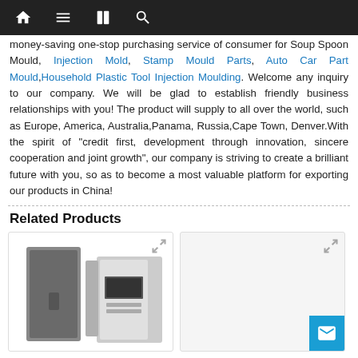Navigation bar with home, menu, book, and search icons
money-saving one-stop purchasing service of consumer for Soup Spoon Mould, Injection Mold, Stamp Mould Parts, Auto Car Part Mould, Household Plastic Tool Injection Moulding. Welcome any inquiry to our company. We will be glad to establish friendly business relationships with you! The product will supply to all over the world, such as Europe, America, Australia,Panama, Russia,Cape Town, Denver.With the spirit of "credit first, development through innovation, sincere cooperation and joint growth", our company is striving to create a brilliant future with you, so as to become a most valuable platform for exporting our products in China!
Related Products
[Figure (photo): Two electrical enclosure boxes / distribution boxes shown side by side in a product card]
[Figure (photo): Second product card, partially visible, with a mail contact button in the bottom right]